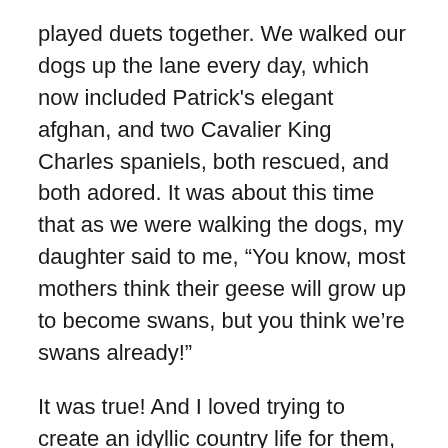played duets together. We walked our dogs up the lane every day, which now included Patrick's elegant afghan, and two Cavalier King Charles spaniels, both rescued, and both adored. It was about this time that as we were walking the dogs, my daughter said to me, “You know, most mothers think their geese will grow up to become swans, but you think we’re swans already!”
It was true! And I loved trying to create an idyllic country life for them, going strawberry picking and blackberry hunting, making jam and bread, trying my hand at bottling fruit, crocheting counterpanes for our beds.
We always had a holiday project, once it was applique, another time learning to write in copper plate handwriting, which was a disaster for my son, who’s deeply disturbed teacher at the village school, hated any sort of talent, and